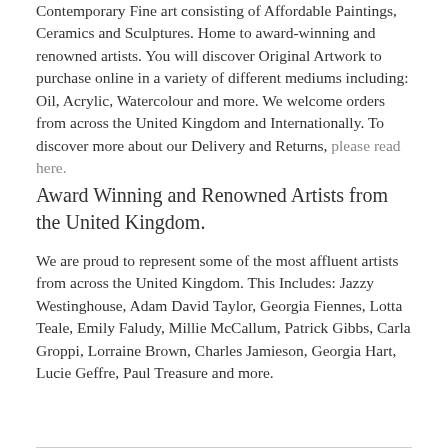Contemporary Fine art consisting of Affordable Paintings, Ceramics and Sculptures. Home to award-winning and renowned artists. You will discover Original Artwork to purchase online in a variety of different mediums including: Oil, Acrylic, Watercolour and more. We welcome orders from across the United Kingdom and Internationally. To discover more about our Delivery and Returns, please read here.
Award Winning and Renowned Artists from the United Kingdom.
We are proud to represent some of the most affluent artists from across the United Kingdom. This Includes: Jazzy Westinghouse, Adam David Taylor, Georgia Fiennes, Lotta Teale, Emily Faludy, Millie McCallum, Patrick Gibbs, Carla Groppi, Lorraine Brown, Charles Jamieson, Georgia Hart, Lucie Geffre, Paul Treasure and more.